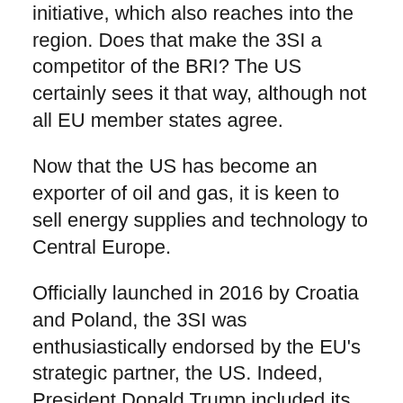initiative, which also reaches into the region. Does that make the 3SI a competitor of the BRI? The US certainly sees it that way, although not all EU member states agree.
Now that the US has become an exporter of oil and gas, it is keen to sell energy supplies and technology to Central Europe.
Officially launched in 2016 by Croatia and Poland, the 3SI was enthusiastically endorsed by the EU's strategic partner, the US. Indeed, President Donald Trump included its Warsaw summit on the itinerary of his visit to Europe in 2017. The EU was a little more circumspect at first, although it has come around to the significance of the initiative, which covers one third of the EU in area and includes about 100 million of the EU's 445 million inhaibitants.
The US support reflects the primary geopolitical purpose behind the 3SI. The opportunity to drive a wedge between Russia and its former zone of influence in Central Europe